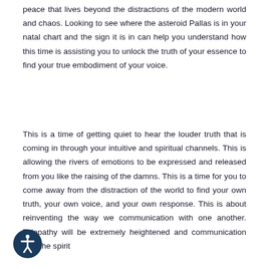peace that lives beyond the distractions of the modern world and chaos. Looking to see where the asteroid Pallas is in your natal chart and the sign it is in can help you understand how this time is assisting you to unlock the truth of your essence to find your true embodiment of your voice.
This is a time of getting quiet to hear the louder truth that is coming in through your intuitive and spiritual channels. This is allowing the rivers of emotions to be expressed and released from you like the raising of the damns. This is a time for you to come away from the distraction of the world to find your own truth, your own voice, and your own response. This is about reinventing the way we communication with one another. Telepathy will be extremely heightened and communication with the spirit
[Figure (illustration): Accessibility icon: a dark navy blue circle containing a white human figure with arms outstretched]